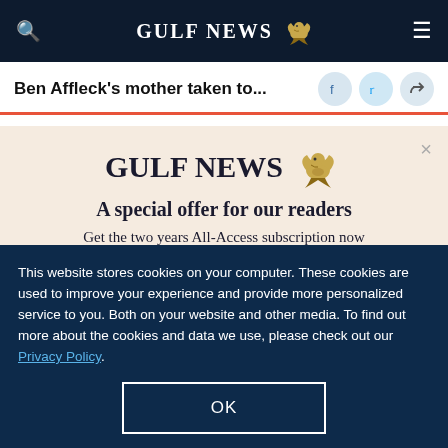GULF NEWS
Ben Affleck's mother taken to...
MORE FROM HOLLYWOOD
[Figure (logo): Gulf News logo with eagle emblem]
A special offer for our readers
Get the two years All-Access subscription now
This website stores cookies on your computer. These cookies are used to improve your experience and provide more personalized service to you. Both on your website and other media. To find out more about the cookies and data we use, please check out our Privacy Policy.
OK